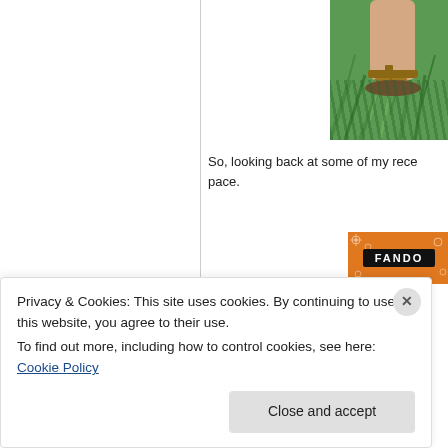[Figure (photo): Photo of person's feet/legs wearing sandals on green grass, cropped to top-right corner]
So, looking back at some of my rece pace.
[Figure (logo): Fandom banner/logo in orange with white decorative pattern and FANDO text visible]
All these years we waited to be toge
Privacy & Cookies: This site uses cookies. By continuing to use this website, you agree to their use.
To find out more, including how to control cookies, see here: Cookie Policy
Close and accept